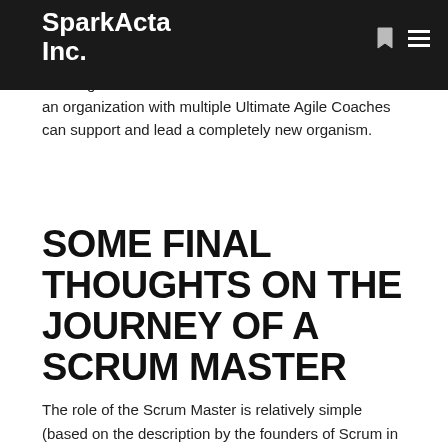SparkActa Inc.
Within the fourth stage, the Scrum Master "graduates" from to paying greater attention to the organization and collaborating with others to create a culture of learning and/or a culture of innovation. This is where an organization with multiple Ultimate Agile Coaches can support and lead a completely new organism.
SOME FINAL THOUGHTS ON THE JOURNEY OF A SCRUM MASTER
The role of the Scrum Master is relatively simple (based on the description by the founders of Scrum in